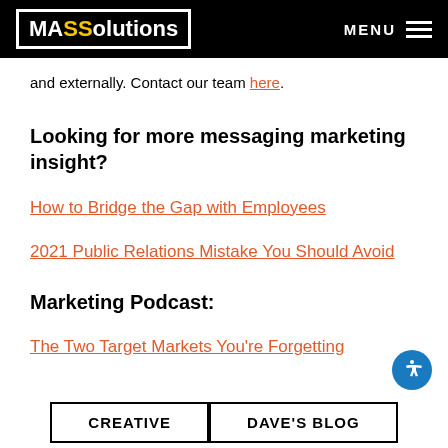MASSolutions MENU
and externally. Contact our team here.
Looking for more messaging marketing insight?
How to Bridge the Gap with Employees
2021 Public Relations Mistake You Should Avoid
Marketing Podcast:
The Two Target Markets You're Forgetting
CREATIVE   DAVE'S BLOG